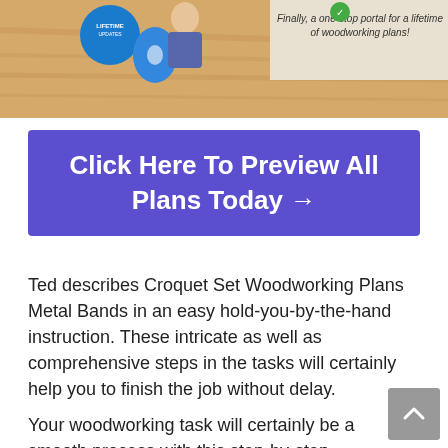[Figure (screenshot): Banner image showing woodworking plans advertisement with text 'Finally, a one-stop portal for a lifetime of woodworking plans!' and a person with LIFETIME UPDATES label]
Click Here To Preview All Plans Today →
Ted describes Croquet Set Woodworking Plans Metal Bands in an easy hold-you-by-the-hand instruction. These intricate as well as comprehensive steps in the tasks will certainly help you to finish the job without delay.
Your woodworking task will certainly be a smooth process with this step-by-step